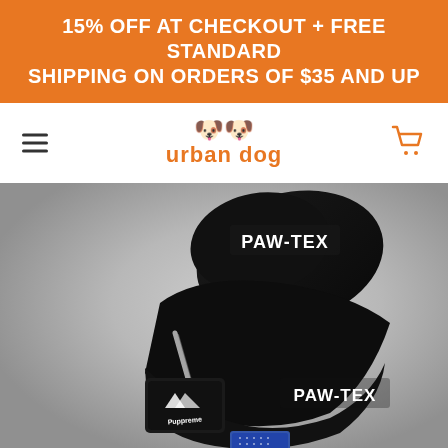15% OFF AT CHECKOUT + FREE STANDARD SHIPPING ON ORDERS OF $35 AND UP
[Figure (logo): Urban Dog brand logo with two dog face emoji icons above the text 'urban dog' in orange]
[Figure (photo): A folded black dog raincoat/jacket with 'PAW-TEX' branding printed in white text on the hood and lower section, along with a Puppreme patch. The jacket is photographed on a grey gradient background.]